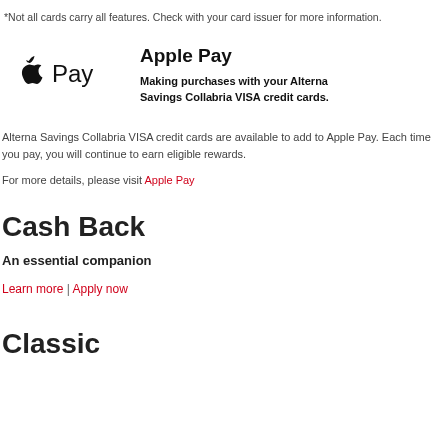*Not all cards carry all features. Check with your card issuer for more information.
[Figure (logo): Apple Pay logo with Apple icon and 'Pay' text]
Apple Pay
Making purchases with your Alterna Savings Collabria VISA credit cards.
Alterna Savings Collabria VISA credit cards are available to add to Apple Pay. Each time you pay, you will continue to earn eligible rewards.
For more details, please visit Apple Pay
Cash Back
An essential companion
Learn more | Apply now
Classic